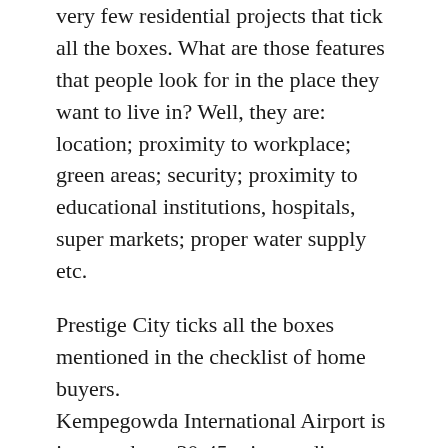very few residential projects that tick all the boxes. What are those features that people look for in the place they want to live in? Well, they are: location; proximity to workplace; green areas; security; proximity to educational institutions, hospitals, super markets; proper water supply etc.
Prestige City ticks all the boxes mentioned in the checklist of home buyers. Kempegowda International Airport is just one hour 30-45 minutes distance from this elegant city. A metro extension is being proposed in this area for comfortable commuting. Prestige City is a